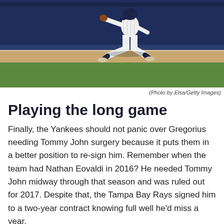[Figure (photo): Baseball player in white pinstripe Yankees uniform running/fielding on the field, photographed from waist down, with green outfield wall in background]
(Photo by Elsa/Getty Images)
Playing the long game
Finally, the Yankees should not panic over Gregorius needing Tommy John surgery because it puts them in a better position to re-sign him. Remember when the team had Nathan Eovaldi in 2016? He needed Tommy John midway through that season and was ruled out for 2017. Despite that, the Tampa Bay Rays signed him to a two-year contract knowing full well he'd miss a year.